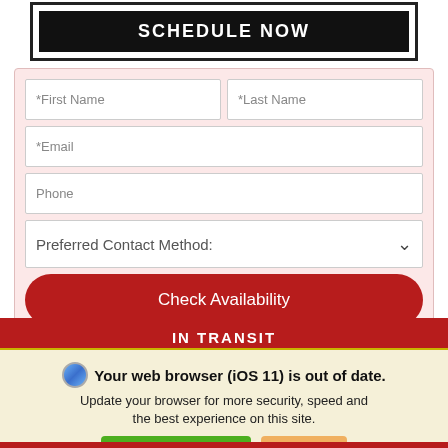[Figure (screenshot): Black button with white text reading SCHEDULE NOW]
*First Name
*Last Name
*Email
Phone
Preferred Contact Method:
Check Availability
IN TRANSIT
Your web browser (iOS 11) is out of date. Update your browser for more security, speed and the best experience on this site.
Update browser
Ignore